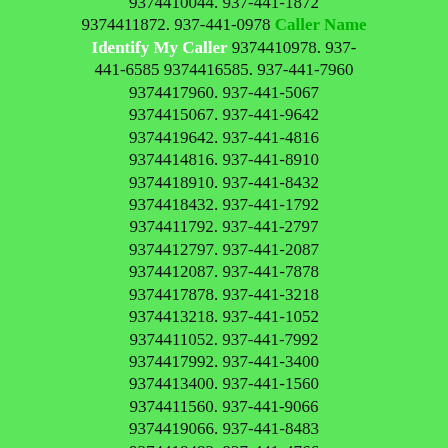9374410044. 937-441-1872 9374411872. 937-441-0978 Caller Name Identify My Caller 9374410978. 937-441-6585 9374416585. 937-441-7960 9374417960. 937-441-5067 9374415067. 937-441-9642 9374419642. 937-441-4816 9374414816. 937-441-8910 9374418910. 937-441-8432 9374418432. 937-441-1792 9374411792. 937-441-2797 9374412797. 937-441-2087 9374412087. 937-441-7878 9374417878. 937-441-3218 9374413218. 937-441-1052 9374411052. 937-441-7992 9374417992. 937-441-3400 9374413400. 937-441-1560 9374411560. 937-441-9066 9374419066. 937-441-8483 9374418483. 937-441-4766 9374414766. 937-441-2337 9374412337. 937-441-2083 9374412083. 937-441-5958 9374415958. 937-441-1202 9374411202. 937-441-8112 9374418112